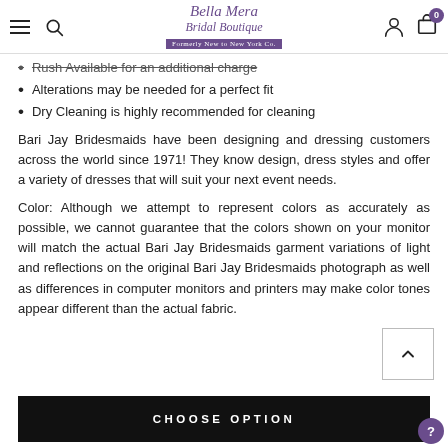Bella Mera Bridal Boutique navigation bar with hamburger menu, search, logo, account, and cart icons
Rush Available for an additional charge
Alterations may be needed for a perfect fit
Dry Cleaning is highly recommended for cleaning
Bari Jay Bridesmaids have been designing and dressing customers across the world since 1971! They know design, dress styles and offer a variety of dresses that will suit your next event needs.
Color: Although we attempt to represent colors as accurately as possible, we cannot guarantee that the colors shown on your monitor will match the actual Bari Jay Bridesmaids garment variations of light and reflections on the original Bari Jay Bridesmaids photograph as well as differences in computer monitors and printers may make color tones appear different than the actual fabric.
CHOOSE OPTION